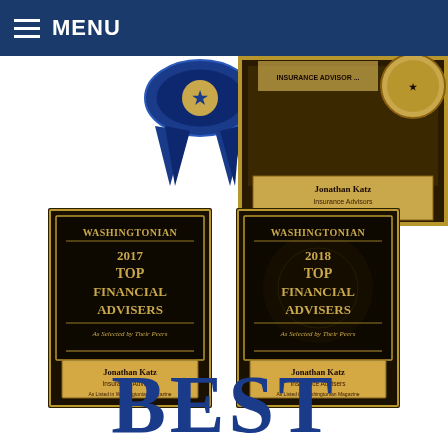MENU
[Figure (photo): Blue ribbon award partially visible in upper left area]
[Figure (photo): Award plaque for Jonathan Katz, Insurance Advisors, Virginia Medical Plans - partially visible upper right]
[Figure (illustration): Washingtonian 2017 Top Financial Advisers award plaque - As Selected by Their Peers - Jonathan Katz Insurance Advisers]
[Figure (illustration): Washingtonian 2018 Top Financial Advisers award plaque - As Selected by Their Peers - Jonathan Katz Insurance Advisers]
BEST